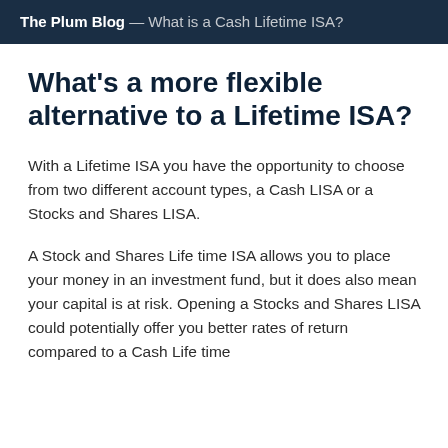The Plum Blog — What is a Cash Lifetime ISA?
What's a more flexible alternative to a Lifetime ISA?
With a Lifetime ISA you have the opportunity to choose from two different account types, a Cash LISA or a Stocks and Shares LISA.
A Stock and Shares Life time ISA allows you to place your money in an investment fund, but it does also mean your capital is at risk. Opening a Stocks and Shares LISA could potentially offer you better rates of return compared to a Cash Life time